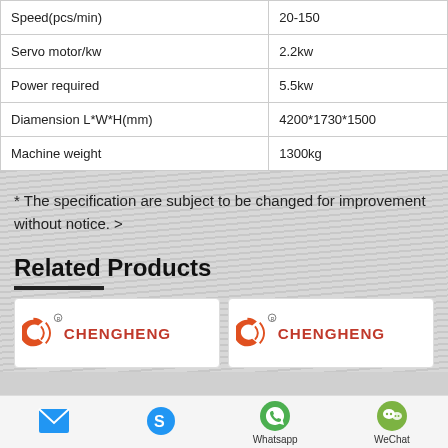| Speed(pcs/min) | 20-150 |
| Servo motor/kw | 2.2kw |
| Power required | 5.5kw |
| Diamension L*W*H(mm) | 4200*1730*1500 |
| Machine weight | 1300kg |
* The specification are subject to be changed for improvement without notice. >
Related Products
[Figure (logo): CHENGHENG company logo - left product card]
[Figure (logo): CHENGHENG company logo - right product card]
[Figure (infographic): Bottom bar with email, Skype, Whatsapp, WeChat icons]